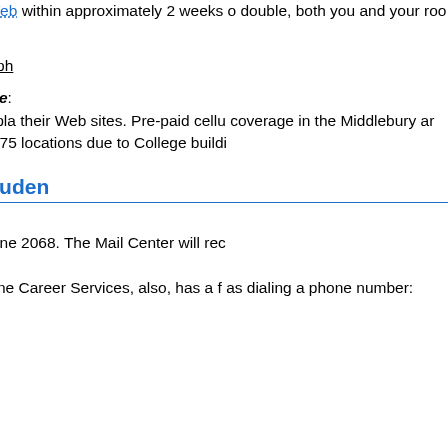Information link in BannerWeb within approximately 2 weeks of double, both you and your room voice mailboxes.
There is no dorm room telepho
Cellular Telephone Service: best reception and service plan their Web sites. Pre-paid cellu coverage in the Middlebury are the Middlebury zip code, 05753 locations due to College buildin
Fax Services for Studen
Incoming Faxes:
An incoming-only fax machine 2068. The Mail Center will rece
Outgoing Faxes:
An outgoing-only fax machine i Career Services, also, has a fa as dialing a phone number:
Local (Off Campus) Calls: